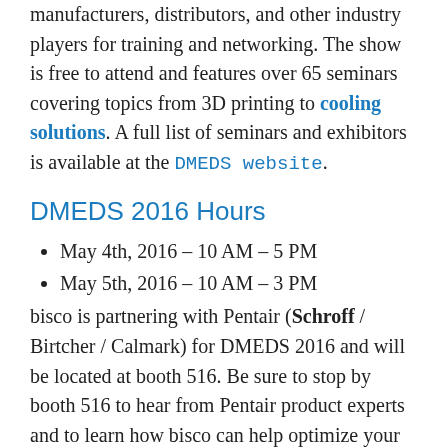manufacturers, distributors, and other industry players for training and networking. The show is free to attend and features over 65 seminars covering topics from 3D printing to cooling solutions. A full list of seminars and exhibitors is available at the DMEDS website.
DMEDS 2016 Hours
May 4th, 2016 – 10 AM – 5 PM
May 5th, 2016 – 10 AM – 3 PM
bisco is partnering with Pentair (Schroff / Birtcher / Calmark) for DMEDS 2016 and will be located at booth 516. Be sure to stop by booth 516 to hear from Pentair product experts and to learn how bisco can help optimize your supply chain. For additional information contact bisco Area Manager, Scott Webb. We look forward to seeing you at DMEDS 2016!